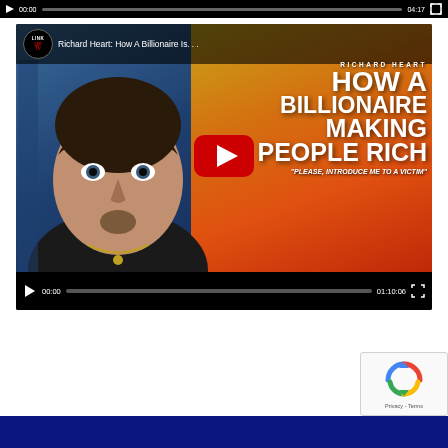[Figure (screenshot): Top cropped video player strip showing play button, 00:00 timestamp, progress bar, 04:17 end time, and fullscreen button on black bar]
[Figure (screenshot): YouTube embedded video thumbnail for 'Richard Heart: How A Billionaire Is Making People Rich' by LinkUpTV. Shows a man's face on blue background and bold white/yellow text on orange-gold gradient. Large red YouTube play button in center. Video controls show 00:00 / 01:10:06. Quote: 'PLEASE, INTRODUCE ME TO A VICTIM']
[Figure (other): reCAPTCHA widget with circular arrow logo and Privacy/Terms links]
[Figure (other): Dark navy blue footer bar at bottom of page]